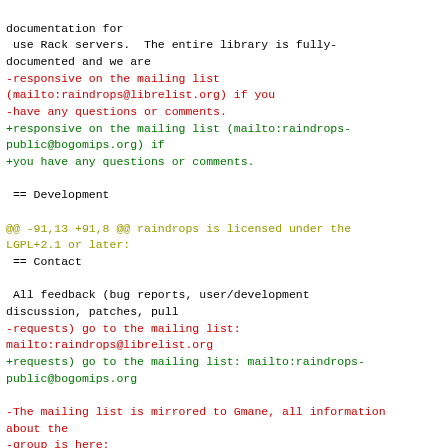documentation for
 use Rack servers.  The entire library is fully-documented and we are
-responsive on the mailing list (mailto:raindrops@librelist.org) if you
-have any questions or comments.
+responsive on the mailing list (mailto:raindrops-public@bogomips.org) if
+you have any questions or comments.

 == Development

@@ -91,13 +91,8 @@ raindrops is licensed under the LGPL+2.1 or later:
 == Contact

 All feedback (bug reports, user/development discussion, patches, pull
-requests) go to the mailing list:
mailto:raindrops@librelist.org
+requests) go to the mailing list: mailto:raindrops-public@bogomips.org

-The mailing list is mirrored to Gmane, all information about the
-group is here:
+Mailing list archives are available here:

-http://gmane.org/info.php?
group=gmane.comp.lang.ruby.raindrops.general